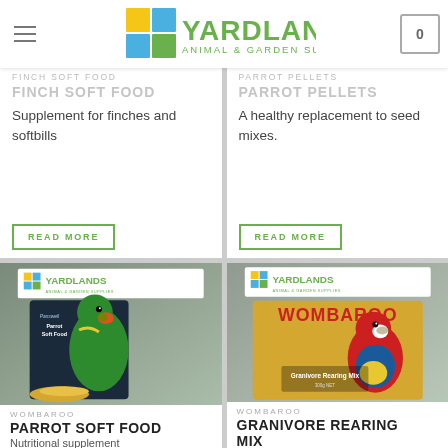[Figure (logo): Yardlands Animal & Garden Supplies logo with colored grid icon]
FINCH SOFT FOOD
Supplement for finches and softbills
READ MORE
PARROT PELLETS
A healthy replacement to seed mixes.
READ MORE
[Figure (photo): Passwell Parrot Soft Food product package with green eclectus parrot]
WOMBAROO
PARROT SOFT FOOD
Nutritional supplement
[Figure (photo): Wombaroo Granivore Rearing Mix product package with red rosella parrot]
WOMBAROO
GRANIVORE REARING MIX
MIX